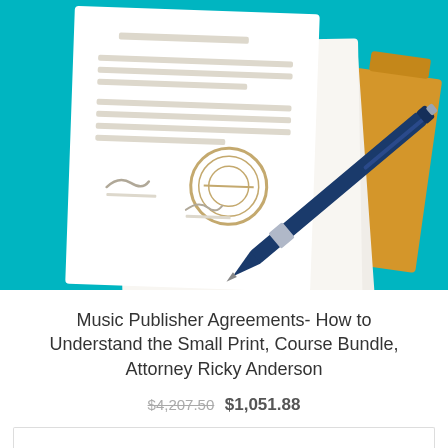[Figure (illustration): Illustration on teal background showing stacked documents/contracts with handwritten signatures and a notary seal stamp, plus a blue ballpoint pen resting diagonally across the papers, with a golden/amber folder behind them.]
Music Publisher Agreements- How to Understand the Small Print, Course Bundle, Attorney Ricky Anderson
$4,207.50 $1,051.88